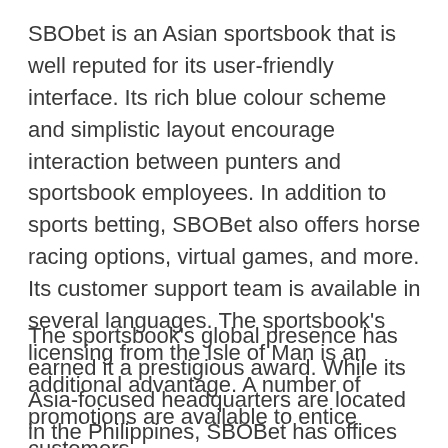SBObet is an Asian sportsbook that is well reputed for its user-friendly interface. Its rich blue colour scheme and simplistic layout encourage interaction between punters and sportsbook employees. In addition to sports betting, SBOBet also offers horse racing options, virtual games, and more. Its customer support team is available in several languages. The sportsbook's licensing from the Isle of Man is an additional advantage. A number of promotions are available to entice customers.
The sportsbook's global presence has earned it a prestigious award. While its Asia-focused headquarters are located in the Philippines, SBOBet has offices throughout the world. Despite its Asian